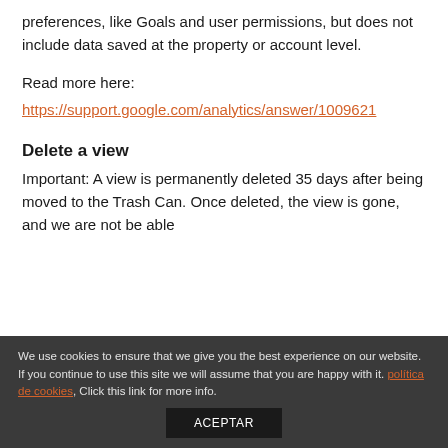preferences, like Goals and user permissions, but does not include data saved at the property or account level.
Read more here:
https://support.google.com/analytics/answer/1009621
Delete a view
Important: A view is permanently deleted 35 days after being moved to the Trash Can. Once deleted, the view is gone, and we are not be able
We use cookies to ensure that we give you the best experience on our website. If you continue to use this site we will assume that you are happy with it. política de cookies, Click this link for more info.
ACEPTAR